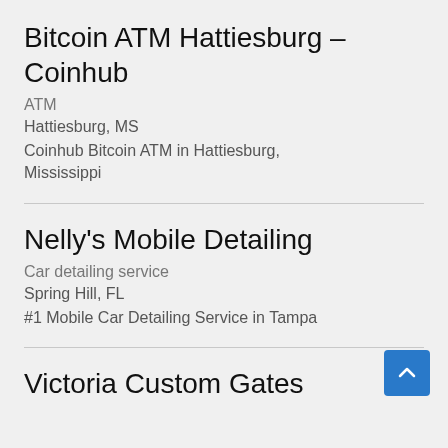Bitcoin ATM Hattiesburg – Coinhub
ATM
Hattiesburg, MS
Coinhub Bitcoin ATM in Hattiesburg, Mississippi
Nelly's Mobile Detailing
Car detailing service
Spring Hill, FL
#1 Mobile Car Detailing Service in Tampa
Victoria Custom Gates